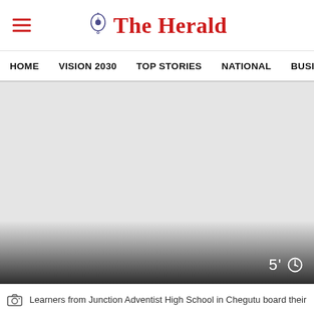The Herald
HOME   VISION 2030   TOP STORIES   NATIONAL   BUSINESS
[Figure (photo): Large image area showing a grey/light background, partially faded with a dark gradient overlay at the bottom. Timer badge shows '5'' with a clock icon in the lower right corner.]
Learners from Junction Adventist High School in Chegutu board their